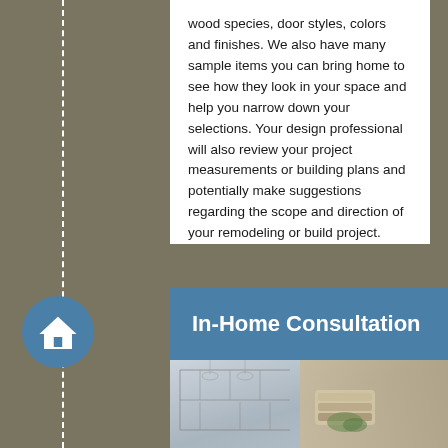wood species, door styles, colors and finishes. We also have many sample items you can bring home to see how they look in your space and help you narrow down your selections. Your design professional will also review your project measurements or building plans and potentially make suggestions regarding the scope and direction of your remodeling or build project.
In-Home Consultation
[Figure (photo): A photo/illustration showing a hand holding sample books or material swatches over a kitchen design sketch/blueprint, representing an in-home consultation service.]